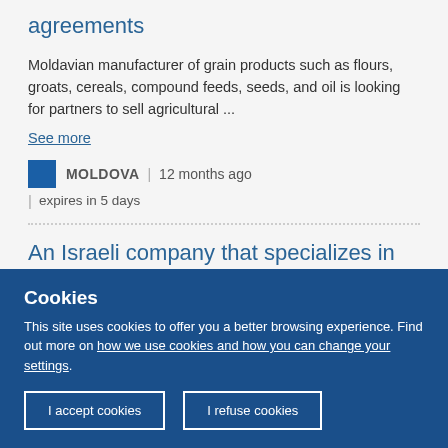agreements
Moldavian manufacturer of grain products such as flours, groats, cereals, compound feeds, seeds, and oil is looking for partners to sell agricultural ...
See more
MOLDOVA | 12 months ago | expires in 5 days
An Israeli company that specializes in deep vein
Cookies
This site uses cookies to offer you a better browsing experience. Find out more on how we use cookies and how you can change your settings.
I accept cookies
I refuse cookies